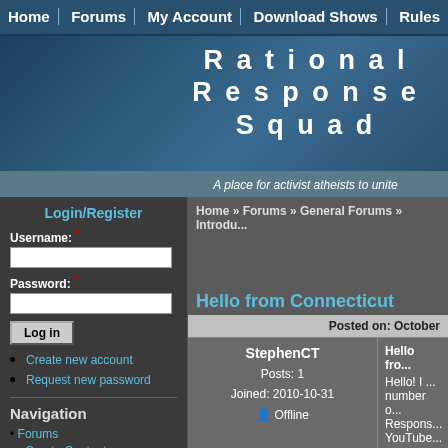Home | Forums | My Account | Download Shows | Rules
Rational Response Squad
A place for activist atheists to unite
Home » Forums » General Forums » Introdu...
Login/Register
Username: *
Password: *
Create new account
Request new password
Navigation
Forums
Create Content
Recent Posts
Hello from Connecticut
Posted on: October
StephenCT
Posts: 1
Joined: 2010-10-31
Offline
Hello fro...
Hello! I ...
number o...
Respons...
YouTube...
was time...
this out.